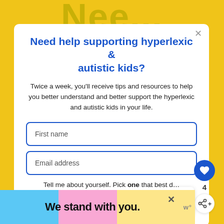Need help supporting hyperlexic & autistic kids?
Twice a week, you'll receive tips and resources to help you better understand and better support the hyperlexic and autistic kids in your life.
First name
Email address
Tell me about yourself. Pick one that best describes why you're here.
I'm a parent or grandparent
We stand with you.